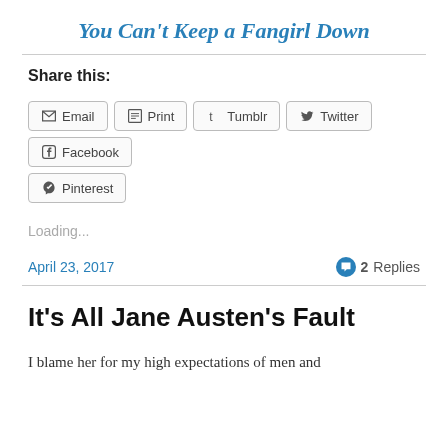You Can't Keep a Fangirl Down
Share this:
Email  Print  Tumblr  Twitter  Facebook  Pinterest
Loading...
April 23, 2017   2 Replies
It's All Jane Austen's Fault
I blame her for my high expectations of men and